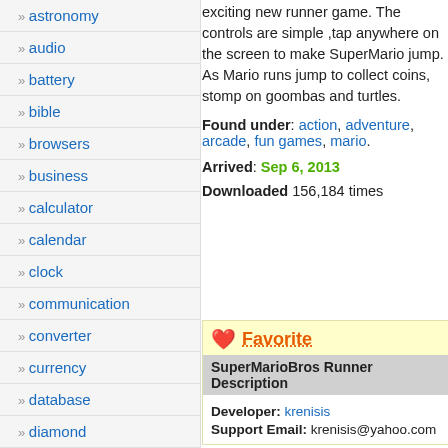astronomy
audio
battery
bible
browsers
business
calculator
calendar
clock
communication
converter
currency
database
diamond
dice
dictionary
ebook
educational
emulators
exciting new runner game. The controls are simple ,tap anywhere on the screen to make SuperMario jump. As Mario runs jump to collect coins, stomp on goombas and turtles.
Found under: action, adventure, arcade, fun games, mario.
Arrived: Sep 6, 2013
Downloaded 156,184 times
Favorite
SuperMarioBros Runner Description
Developer: krenisis
Support Email: krenisis@yahoo.com